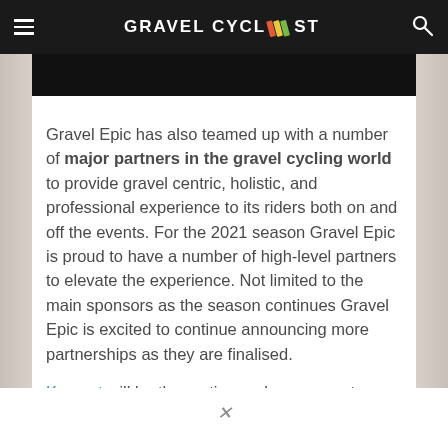GRAVEL CYCLIST
[Figure (screenshot): Dark image bar at top of article]
Gravel Epic has also teamed up with a number of major partners in the gravel cycling world to provide gravel centric, holistic, and professional experience to its riders both on and off the events. For the 2021 season Gravel Epic is proud to have a number of high-level partners to elevate the experience. Not limited to the main sponsors as the season continues Gravel Epic is excited to continue announcing more partnerships as they are finalised.
Komoot will be the routing and course partner for 2021. Komoot and Gravel Epic have worked closely to design courses that are challenging, fun, and rewarding. Komoot offers a unique perspective and is